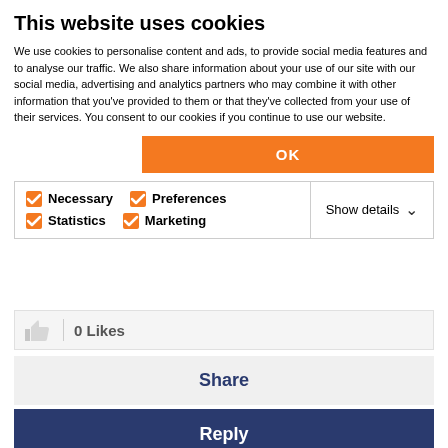This website uses cookies
We use cookies to personalise content and ads, to provide social media features and to analyse our traffic. We also share information about your use of our site with our social media, advertising and analytics partners who may combine it with other information that you've provided to them or that they've collected from your use of their services. You consent to our cookies if you continue to use our website.
[Figure (screenshot): Cookie consent dialog with OK button and checkbox options for Necessary, Preferences, Statistics, Marketing with Show details dropdown]
0 Likes
Share
Reply
All topics